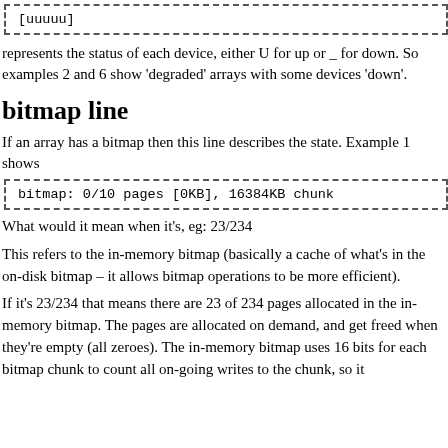[uuuuu]
represents the status of each device, either U for up or _ for down. So examples 2 and 6 show 'degraded' arrays with some devices 'down'.
bitmap line
If an array has a bitmap then this line describes the state. Example 1 shows
bitmap: 0/10 pages [0KB], 16384KB chunk
What would it mean when it's, eg: 23/234
This refers to the in-memory bitmap (basically a cache of what's in the on-disk bitmap – it allows bitmap operations to be more efficient).
If it's 23/234 that means there are 23 of 234 pages allocated in the in-memory bitmap. The pages are allocated on demand, and get freed when they're empty (all zeroes). The in-memory bitmap uses 16 bits for each bitmap chunk to count all on-going writes to the chunk, so it